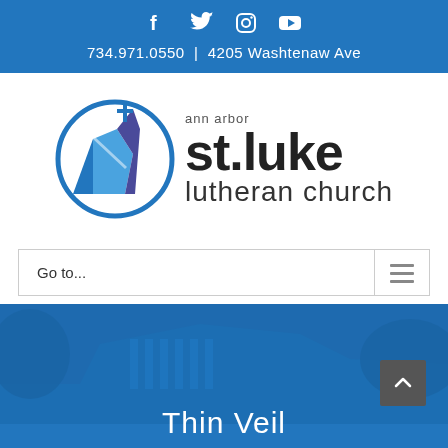[Figure (screenshot): Social media icons: Facebook, Twitter, Instagram, YouTube in white on blue background]
734.971.0550  |  4205 Washtenaw Ave
[Figure (logo): St. Luke Ann Arbor Lutheran Church logo with blue circular church building icon and bold text]
Go to...
[Figure (photo): Blue-tinted photo of church building exterior with text 'Thin Veil' overlaid at the bottom]